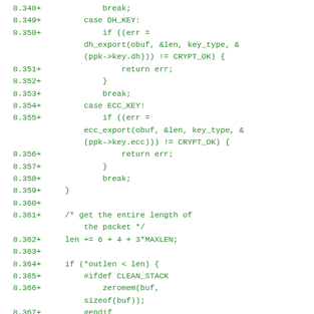[Figure (other): Code diff snippet showing C source lines 8.348–8.369 with line numbers, plus signs indicating additions, and green monospace code including switch cases for DH_KEY and ECC_KEY, key export calls, and buffer overflow handling.]